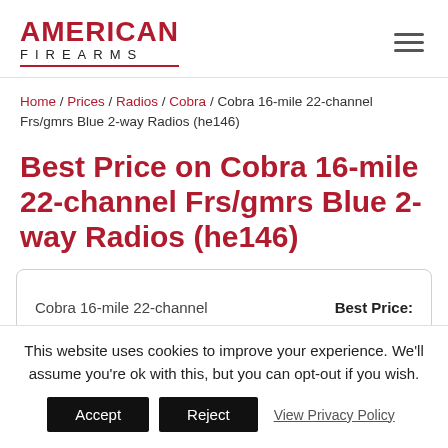AMERICAN FIREARMS
Home / Prices / Radios / Cobra / Cobra 16-mile 22-channel Frs/gmrs Blue 2-way Radios (he146)
Best Price on Cobra 16-mile 22-channel Frs/gmrs Blue 2-way Radios (he146)
| Product | Best Price: |
| --- | --- |
| Cobra 16-mile 22-channel |  |
This website uses cookies to improve your experience. We'll assume you're ok with this, but you can opt-out if you wish.
Accept  Reject  View Privacy Policy